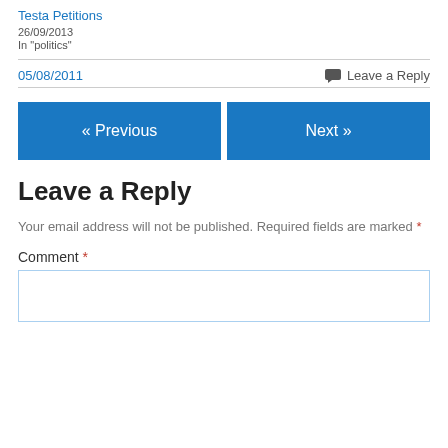Testa Petitions
26/09/2013
In "politics"
05/08/2011
Leave a Reply
« Previous
Next »
Leave a Reply
Your email address will not be published. Required fields are marked *
Comment *